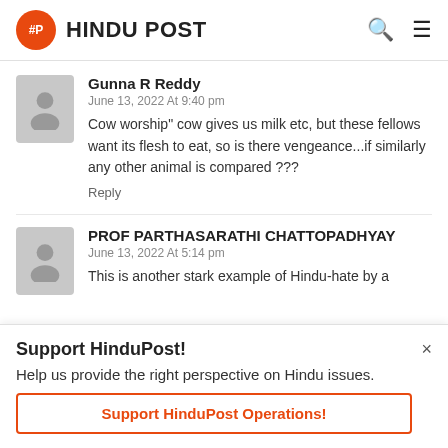HINDU POST
Gunna R Reddy
June 13, 2022 At 9:40 pm
Cow worship" cow gives us milk etc, but these fellows want its flesh to eat, so is there vengeance...if similarly any other animal is compared ???
Reply
PROF PARTHASARATHI CHATTOPADHYAY
June 13, 2022 At 5:14 pm
This is another stark example of Hindu-hate by a
Support HinduPost!
Help us provide the right perspective on Hindu issues.
Support HinduPost Operations!